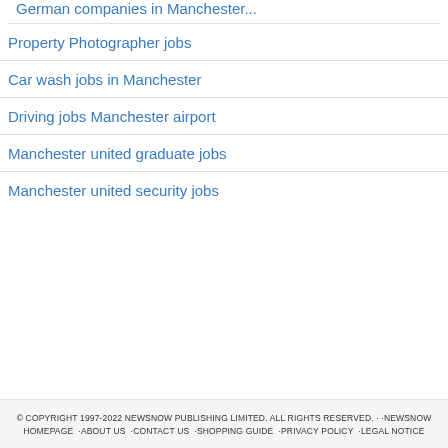Property Photographer jobs
Car wash jobs in Manchester
Driving jobs Manchester airport
Manchester united graduate jobs
Manchester united security jobs
© COPYRIGHT 1997-2022 NEWSNOW PUBLISHING LIMITED. ALL RIGHTS RESERVED. · ·NEWSNOW HOMEPAGE ·ABOUT US ·CONTACT US ·SHOPPING GUIDE ·PRIVACY POLICY ·LEGAL NOTICE